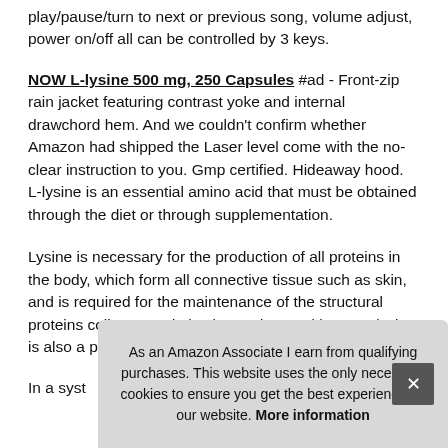play/pause/turn to next or previous song, volume adjust, power on/off all can be controlled by 3 keys.
NOW L-lysine 500 mg, 250 Capsules #ad - Front-zip rain jacket featuring contrast yoke and internal drawchord hem. And we couldn't confirm whether Amazon had shipped the Laser level come with the no-clear instruction to you. Gmp certified. Hideaway hood. L-lysine is an essential amino acid that must be obtained through the diet or through supplementation.
Lysine is necessary for the production of all proteins in the body, which form all connective tissue such as skin, and is required for the maintenance of the structural proteins collagen and elastin, tendon, and bone. L-lysine is also a prec and
In a syst
As an Amazon Associate I earn from qualifying purchases. This website uses the only necessary cookies to ensure you get the best experience on our website. More information